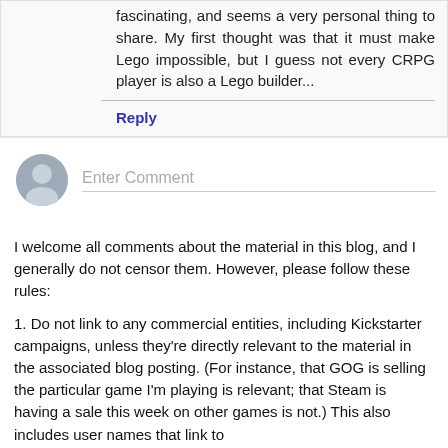fascinating, and seems a very personal thing to share. My first thought was that it must make Lego impossible, but I guess not every CRPG player is also a Lego builder...
Reply
Enter Comment
I welcome all comments about the material in this blog, and I generally do not censor them. However, please follow these rules:
1. Do not link to any commercial entities, including Kickstarter campaigns, unless they're directly relevant to the material in the associated blog posting. (For instance, that GOG is selling the particular game I'm playing is relevant; that Steam is having a sale this week on other games is not.) This also includes user names that link to